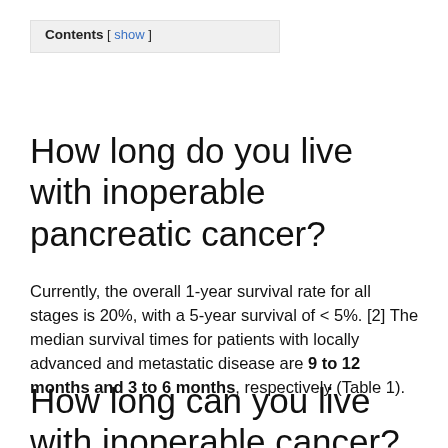Contents [ show ]
How long do you live with inoperable pancreatic cancer?
Currently, the overall 1-year survival rate for all stages is 20%, with a 5-year survival of < 5%. [2] The median survival times for patients with locally advanced and metastatic disease are 9 to 12 months and 3 to 6 months, respectively (Table 1).
How long can you live with inoperable cancer?